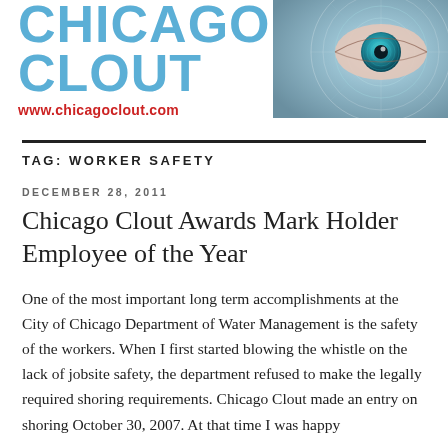[Figure (logo): Chicago Clout logo with blue text reading CHICAGO CLOUT, red URL www.chicagoclout.com, and a futuristic eye graphic on the right side]
TAG: WORKER SAFETY
DECEMBER 28, 2011
Chicago Clout Awards Mark Holder Employee of the Year
One of the most important long term accomplishments at the City of Chicago Department of Water Management is the safety of the workers. When I first started blowing the whistle on the lack of jobsite safety, the department refused to make the legally required shoring requirements. Chicago Clout made an entry on shoring October 30, 2007. At that time I was happy